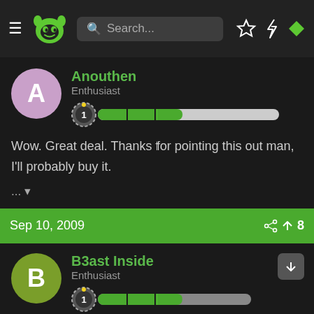Navigation bar with logo, search, and icons
Anouthen
Enthusiast
Wow. Great deal. Thanks for pointing this out man, I'll probably buy it.
...
Sep 10, 2009
B3ast Inside
Enthusiast
Login  Register